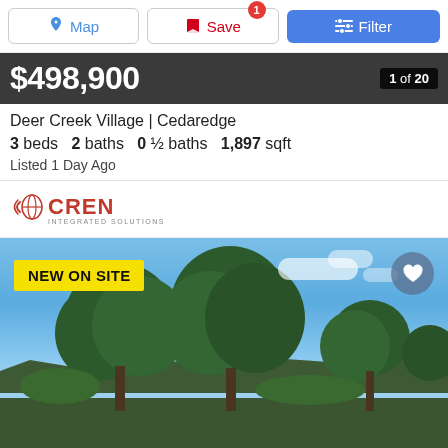[Figure (screenshot): Mobile real estate app toolbar with Map, Save (badge: 1), and Filter buttons]
$498,900
1 of 20
Deer Creek Village | Cedaredge
3 beds   2 baths   0 ½ baths   1,897 sqft
Listed 1 Day Ago
[Figure (logo): CREN Integrated Solutions logo]
[Figure (photo): Outdoor property photo showing trees against a blue sky with hills in background. Badge: NEW ON SITE. Heart icon button in upper right.]